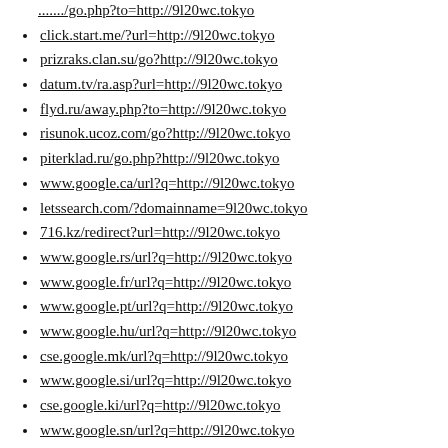(partial top) ...url=http://9l20wc.tokyo
click.start.me/?url=http://9l20wc.tokyo
prizraks.clan.su/go?http://9l20wc.tokyo
datum.tv/ra.asp?url=http://9l20wc.tokyo
flyd.ru/away.php?to=http://9l20wc.tokyo
risunok.ucoz.com/go?http://9l20wc.tokyo
piterklad.ru/go.php?http://9l20wc.tokyo
www.google.ca/url?q=http://9l20wc.tokyo
letssearch.com/?domainname=9l20wc.tokyo
716.kz/redirect?url=http://9l20wc.tokyo
www.google.rs/url?q=http://9l20wc.tokyo
www.google.fr/url?q=http://9l20wc.tokyo
www.google.pt/url?q=http://9l20wc.tokyo
www.google.hu/url?q=http://9l20wc.tokyo
cse.google.mk/url?q=http://9l20wc.tokyo
www.google.si/url?q=http://9l20wc.tokyo
cse.google.ki/url?q=http://9l20wc.tokyo
www.google.sn/url?q=http://9l20wc.tokyo
www.google.cf/url?q=http://9l20wc.tokyo
(partial bottom) ...http://9l20wc.tokyo